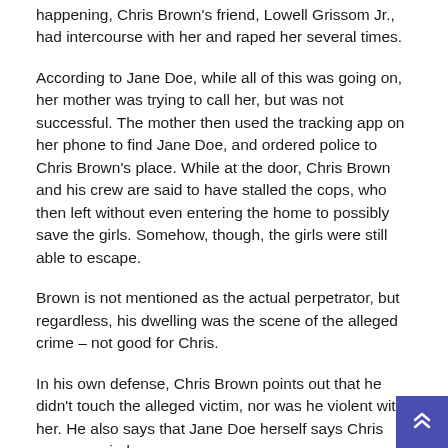happening, Chris Brown's friend, Lowell Grissom Jr., had intercourse with her and raped her several times.
According to Jane Doe, while all of this was going on, her mother was trying to call her, but was not successful. The mother then used the tracking app on her phone to find Jane Doe, and ordered police to Chris Brown's place. While at the door, Chris Brown and his crew are said to have stalled the cops, who then left without even entering the home to possibly save the girls. Somehow, though, the girls were still able to escape.
Brown is not mentioned as the actual perpetrator, but regardless, his dwelling was the scene of the alleged crime – not good for Chris.
In his own defense, Chris Brown points out that he didn't touch the alleged victim, nor was he violent with her. He also says that Jane Doe herself says Chris was occupied…